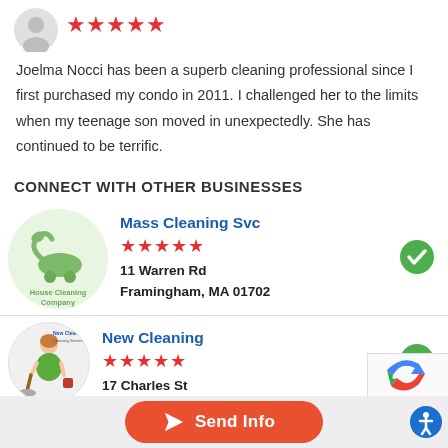[Figure (illustration): Gray avatar profile icon with 5 red stars rating below it]
Joelma Nocci has been a superb cleaning professional since I first purchased my condo in 2011. I challenged her to the limits when my teenage son moved in unexpectedly. She has continued to be terrific.
CONNECT WITH OTHER BUSINESSES
[Figure (logo): Round green circle logo with vacuum cleaner illustration and text 'House Cleaning Company']
Mass Cleaning Svc
[Figure (illustration): 5 red stars rating]
11 Warren Rd
Framingham, MA 01702
[Figure (logo): Round logo with woman cleaning illustration and 'New Cleaning' text]
New Cleaning
[Figure (illustration): 5 red stars rating]
17 Charles St